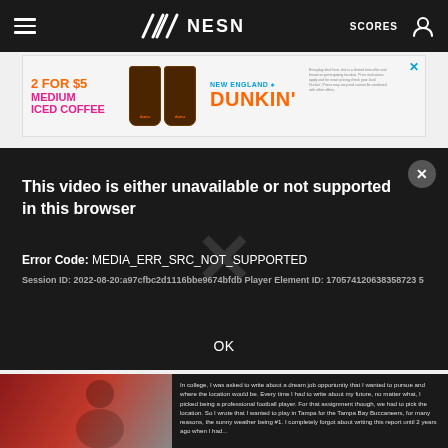NESN — SCORES
[Figure (screenshot): Dunkin' advertisement banner: '2 FOR $5 MEDIUM ICED COFFEE' with two iced coffee cups and 'NEW ENGLAND / DUNKIN'' branding]
This video is either unavailable or not supported in this browser
Error Code: MEDIA_ERR_SRC_NOT_SUPPORTED
Session ID: 2022-08-20:a97cfbc2d1116bbe9674bfdb Player Element ID: 170574120638358723 5
OK
[Figure (photo): Partial article preview showing a football player image and text excerpt about writing about a dream job as a professional football player, wanting to play in Tampa for the Tampa Bay Buccaneers]